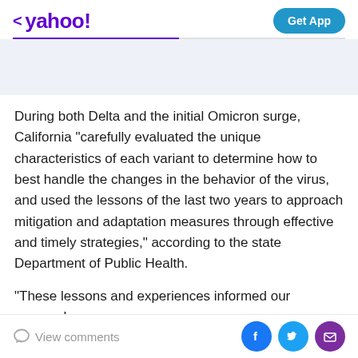< yahoo!  Get App
During both Delta and the initial Omicron surge, California "carefully evaluated the unique characteristics of each variant to determine how to best handle the changes in the behavior of the virus, and used the lessons of the last two years to approach mitigation and adaptation measures through effective and timely strategies," according to the state Department of Public Health.
"These lessons and experiences informed our approach
View comments